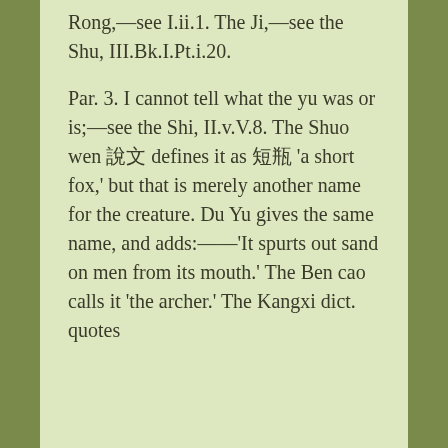Rong,—see I.ii.1. The Ji,—see the Shu, III.Bk.I.Pt.i.20.
Par. 3. I cannot tell what the yu was or is;—see the Shi, II.v.V.8. The Shuo wen 說文 defines it as 短狐 'a short fox,' but that is merely another name for the creature. Du Yu gives the same name, and adds:——'It spurts out sand on men from its mouth.' The Ben cao calls it 'the archer.' The Kangxi dict. quotes